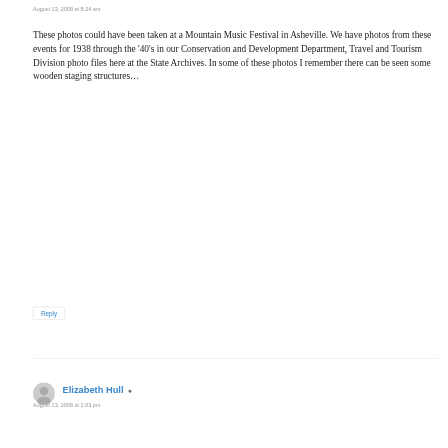August 13, 2008 at 8:24 am
These photos could have been taken at a Mountain Music Festival in Asheville. We have photos from these events for 1938 through the ‘40’s in our Conservation and Development Department, Travel and Tourism Division photo files here at the State Archives. In some of these photos I remember there can be seen some wooden staging structures…
Reply
Elizabeth Hull
August 13, 2008 at 1:03 pm